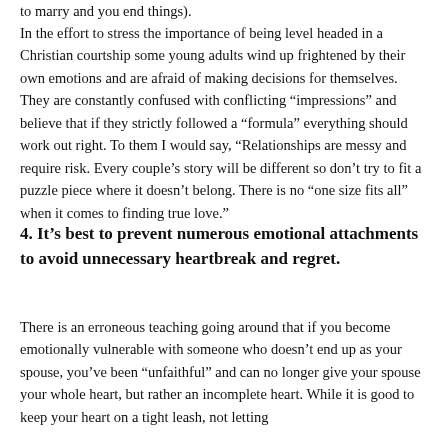to marry and you end things).
In the effort to stress the importance of being level headed in a Christian courtship some young adults wind up frightened by their own emotions and are afraid of making decisions for themselves. They are constantly confused with conflicting “impressions” and believe that if they strictly followed a “formula” everything should work out right. To them I would say, “Relationships are messy and require risk. Every couple’s story will be different so don’t try to fit a puzzle piece where it doesn’t belong. There is no “one size fits all” when it comes to finding true love.”
4. It’s best to prevent numerous emotional attachments to avoid unnecessary heartbreak and regret.
There is an erroneous teaching going around that if you become emotionally vulnerable with someone who doesn’t end up as your spouse, you’ve been “unfaithful” and can no longer give your spouse your whole heart, but rather an incomplete heart. While it is good to keep your heart on a tight leash, not letting